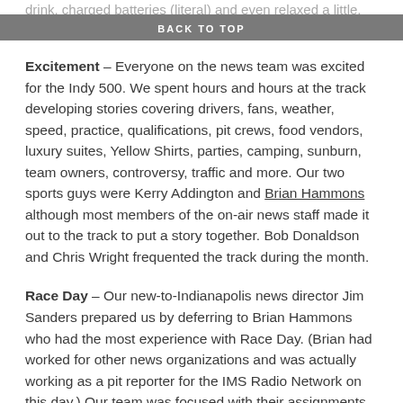drink, charged batteries (literal) and even relaxed a little.
BACK TO TOP
Excitement – Everyone on the news team was excited for the Indy 500. We spent hours and hours at the track developing stories covering drivers, fans, weather, speed, practice, qualifications, pit crews, food vendors, luxury suites, Yellow Shirts, parties, camping, sunburn, team owners, controversy, traffic and more. Our two sports guys were Kerry Addington and Brian Hammons although most members of the on-air news staff made it out to the track to put a story together. Bob Donaldson and Chris Wright frequented the track during the month.
Race Day – Our new-to-Indianapolis news director Jim Sanders prepared us by deferring to Brian Hammons who had the most experience with Race Day. (Brian had worked for other news organizations and was actually working as a pit reporter for the IMS Radio Network on this day.) Our team was focused with their assignments as we loaded our